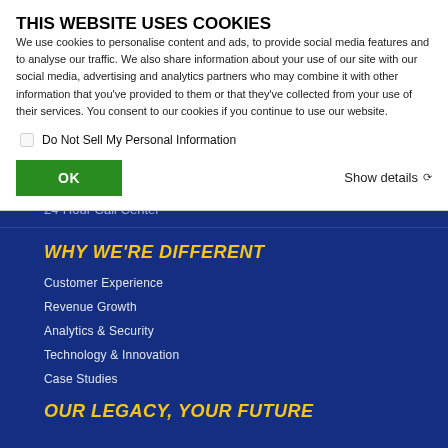THIS WEBSITE USES COOKIES
We use cookies to personalise content and ads, to provide social media features and to analyse our traffic. We also share information about your use of our site with our social media, advertising and analytics partners who may combine it with other information that you've provided to them or that they've collected from your use of their services. You consent to our cookies if you continue to use our website.
Do Not Sell My Personal Information
OK
Show details
24-Hour Call Center
WHY WE'RE DIFFERENT
Customer Experience
Revenue Growth
Analytics & Security
Technology & Innovation
Case Studies
OUR LEGACY, YOUR FUTURE